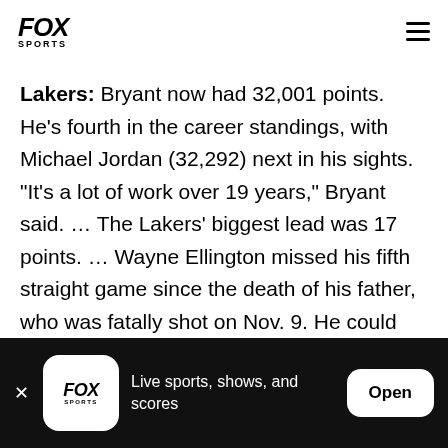FOX SPORTS
Lakers: Bryant now had 32,001 points. He's fourth in the career standings, with Michael Jordan (32,292) next in his sights. "It's a lot of work over 19 years," Bryant said. … The Lakers' biggest lead was 17 points. … Wayne Ellington missed his fifth straight game since the death of his father, who was fatally shot on Nov. 9. He could rejoin the team for its game Friday at Dallas, coach Byron Scott said.
FOX SPORTS — Live sports, shows, and scores — Open